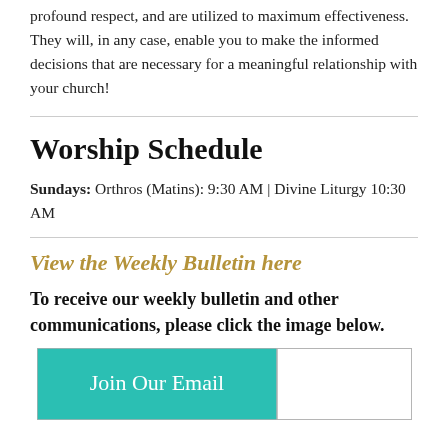profound respect, and are utilized to maximum effectiveness. They will, in any case, enable you to make the informed decisions that are necessary for a meaningful relationship with your church!
Worship Schedule
Sundays: Orthros (Matins): 9:30 AM | Divine Liturgy 10:30 AM
View the Weekly Bulletin here
To receive our weekly bulletin and other communications, please click the image below.
[Figure (other): A teal/green button graphic with text 'Join Our Email' on the left portion and a white box on the right portion]